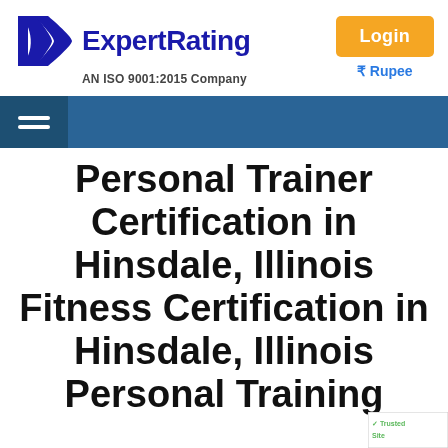[Figure (logo): ExpertRating logo with blue stylized 'E' icon and text 'ExpertRating', subtitle 'AN ISO 9001:2015 Company']
[Figure (other): Login button (orange) and Rupee currency link (blue)]
[Figure (other): Navigation bar with hamburger menu icon]
Personal Trainer Certification in Hinsdale, Illinois Fitness Certification in Hinsdale, Illinois Personal Training
[Figure (other): TrustedSite badge partially visible at bottom right]